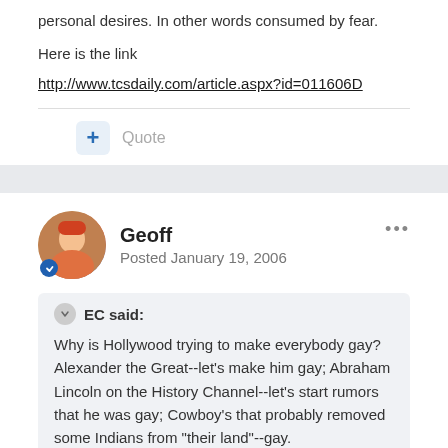personal desires. In other words consumed by fear.
Here is the link
http://www.tcsdaily.com/article.aspx?id=011606D
Quote
Geoff
Posted January 19, 2006
EC said:
Why is Hollywood trying to make everybody gay? Alexander the Great--let's make him gay; Abraham Lincoln on the History Channel--let's start rumors that he was gay; Cowboy's that probably removed some Indians from "their land"--gay.